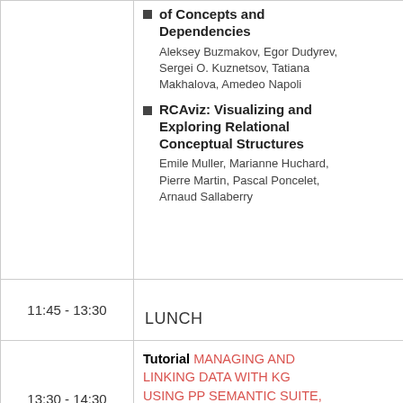of Concepts and Dependencies
Aleksey Buzmakov, Egor Dudyrev, Sergei O. Kuznetsov, Tatiana Makhalova, Amedeo Napoli
RCAviz: Visualizing and Exploring Relational Conceptual Structures
Emile Muller, Marianne Huchard, Pierre Martin, Pascal Poncelet, Arnaud Sallaberry
11:45 - 13:30
LUNCH
13:30 - 14:30
Tutorial MANAGING AND LINKING DATA WITH KG USING PP SEMANTIC SUITE, Albin Ahmeti, Artem Revenko
Session 4. Applications